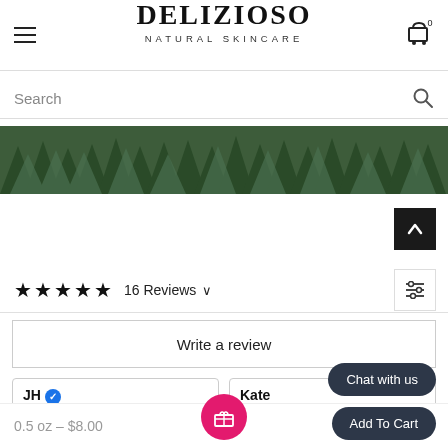DELIZIOSO NATURAL SKINCARE
Search
[Figure (photo): Forest banner showing dense green pine/fir trees from above]
★★★★★ 16 Reviews ∨
Write a review
JH ✓
Kate
0.5 oz – $8.00
Chat with us
Add To Cart